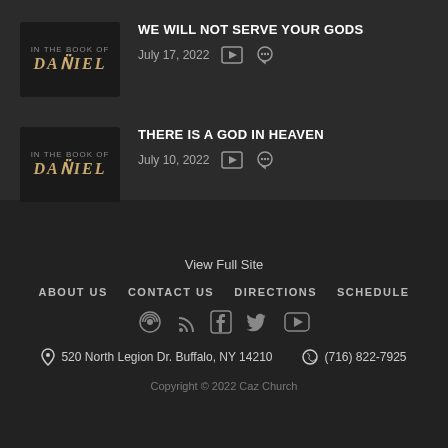WE WILL NOT SERVE YOUR GODS — July 17, 2022
THERE IS A GOD IN HEAVEN — July 10, 2022
View Full Site
ABOUT US   CONTACT US   DIRECTIONS   SCHEDULE
520 North Legion Dr. Buffalo, NY 14210   (716) 822-7925
Copyright © 2022 Caz Church